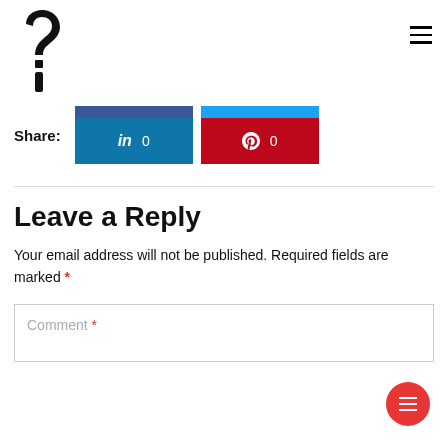[Figure (logo): Question mark exclamation point logo in black]
Share:
[Figure (infographic): Social share buttons: LinkedIn (blue, 0 shares) and Pinterest (red, 0 shares) with partial Facebook and Twitter bars above]
Leave a Reply
Your email address will not be published. Required fields are marked *
Comment *